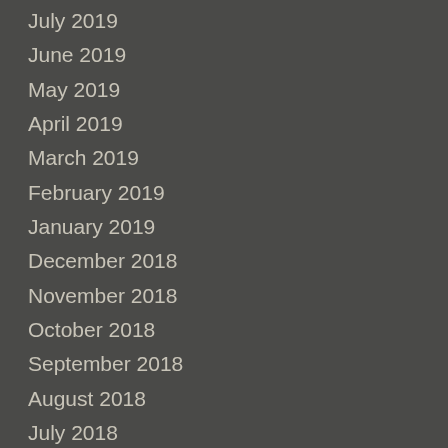July 2019
June 2019
May 2019
April 2019
March 2019
February 2019
January 2019
December 2018
November 2018
October 2018
September 2018
August 2018
July 2018
June 2018
May 2018
April 2018
March 2018
February 2018